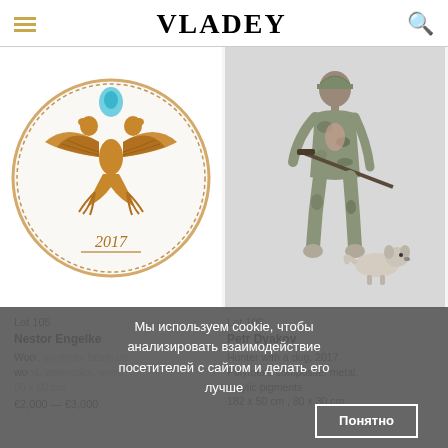VLADEY
[Figure (photo): Lot 105: circular ceramic plate with embroidered or painted double-headed eagle motif and '2017' inscription, by Nestor Engelke]
[Figure (photo): Lot 106: sculptural figure of a person in camouflage clothing holding a rifle with a small dog at feet, by Petr Dyakov]
Lot 105
Nestor Engelke
Wool, synthetic fabric on wood, watercolor, wood 60 x 60 cm
€2,000 — €3,000
Lot 106
Petr Dyakov
Hunter with a dog, 2017
Polymeric composite, metal, acrylic pigments
182 x 50 cm , 80 x 30 cm
Мы используем cookie, чтобы анализировать взаимодействие посетителей с сайтом и делать его лучше
Понятно